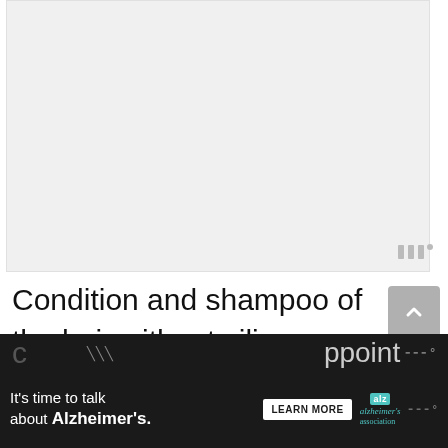[Figure (other): Large light gray placeholder rectangle for an advertisement or image]
Condition and shampoo of the hair without silicone or sulphate products is a must. Whether you are out for an office or
[Figure (infographic): Dark bottom banner advertisement: "It's time to talk about Alzheimer's." with LEARN MORE button and Alzheimer's Association logo]